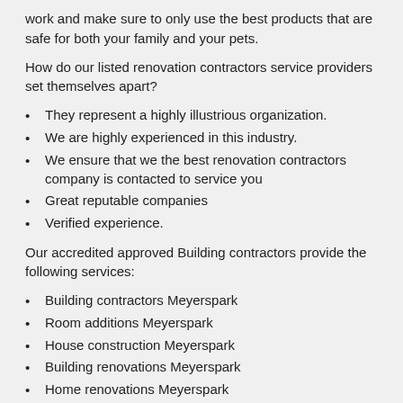work and make sure to only use the best products that are safe for both your family and your pets.
How do our listed renovation contractors service providers set themselves apart?
They represent a highly illustrious organization.
We are highly experienced in this industry.
We ensure that we the best renovation contractors company is contacted to service you
Great reputable companies
Verified experience.
Our accredited approved Building contractors provide the following services:
Building contractors Meyerspark
Room additions Meyerspark
House construction Meyerspark
Building renovations Meyerspark
Home renovations Meyerspark
Construction companies Meyerspark
Building contractors Meyerspark
House renovations Meyerspark
Renovation costs Meyerspark
Home construction Meyerspark
Builders Meyerspark
Building alterations Meyerspark